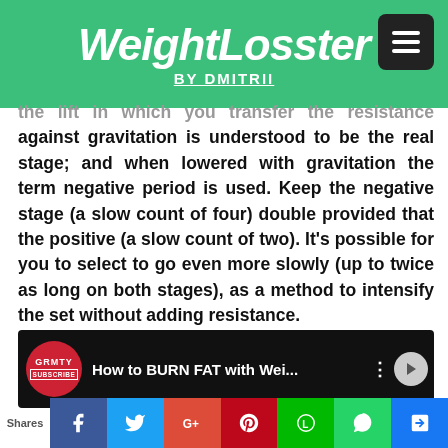WeightLosster BY DMITRII
the lift in which you transfer the resistance against gravitation is understood to be the real stage; and when lowered with gravitation the term negative period is used. Keep the negative stage (a slow count of four) double provided that the positive (a slow count of two). It's possible for you to select to go even more slowly (up to twice as long on both stages), as a method to intensify the set without adding resistance.
[Figure (screenshot): YouTube video thumbnail showing 'How to BURN FAT with Wei...' with Gravity channel badge and subscribe button]
[Figure (infographic): Social share bar with Facebook, Twitter, Google+, Pinterest, Line, WhatsApp, and bookmark buttons. Label 'Shares' on left.]